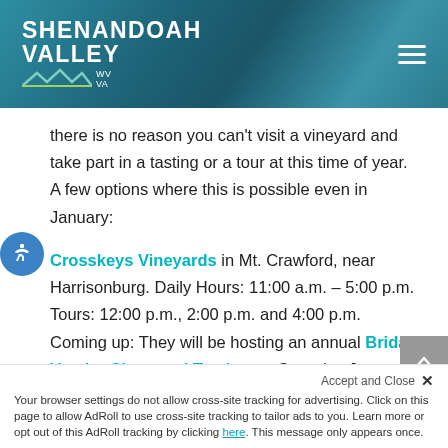Shenandoah Valley WV VA
there is no reason you can’t visit a vineyard and take part in a tasting or a tour at this time of year. A few options where this is possible even in January:
Crosskeys Vineyards in Mt. Crawford, near Harrisonburg. Daily Hours: 11:00 a.m. – 5:00 p.m. Tours: 12:00 p.m., 2:00 p.m. and 4:00 p.m. Coming up: They will be hosting an annual Bridal Vendor Show and Tasting on Saturday January 12, 2019.
Your browser settings do not allow cross-site tracking for advertising. Click on this page to allow AdRoll to use cross-site tracking to tailor ads to you. Learn more or opt out of this AdRoll tracking by clicking here. This message only appears once.